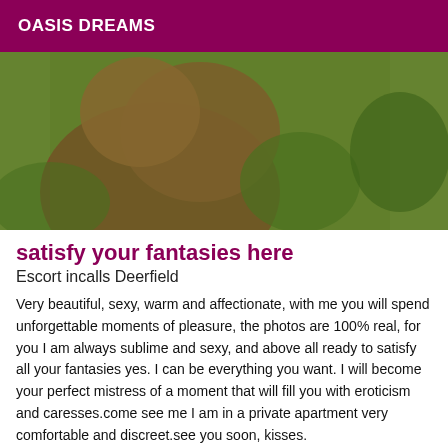OASIS DREAMS
[Figure (photo): Outdoor photo showing a person against a green grass background]
satisfy your fantasies here
Escort incalls Deerfield
Very beautiful, sexy, warm and affectionate, with me you will spend unforgettable moments of pleasure, the photos are 100% real, for you I am always sublime and sexy, and above all ready to satisfy all your fantasies yes. I can be everything you want. I will become your perfect mistress of a moment that will fill you with eroticism and caresses.come see me I am in a private apartment very comfortable and discreet.see you soon, kisses.